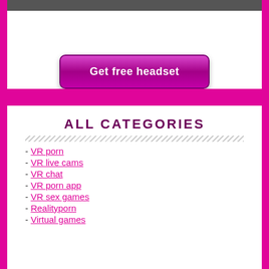[Figure (photo): Cropped photo strip at the top of the white card area]
[Figure (other): Pink/magenta gradient button labeled 'Get free headset']
ALL CATEGORIES
- VR porn
- VR live cams
- VR chat
- VR porn app
- VR sex games
- Realityporn
- Virtual games